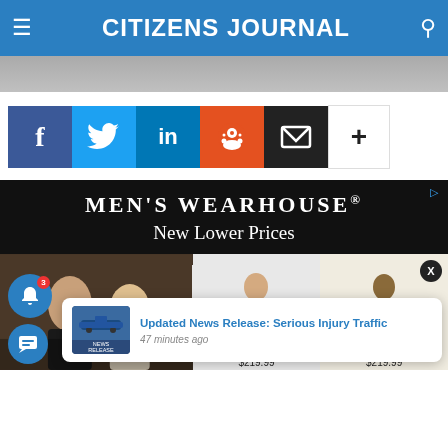CITIZENS JOURNAL
[Figure (screenshot): Gray image strip at top of article]
[Figure (infographic): Social share bar with Facebook, Twitter, LinkedIn, Reddit, Email, and More buttons]
[Figure (screenshot): Men's Wearhouse advertisement banner with text 'New Lower Prices' on black background, with product images showing suits priced at $219.99]
Updated News Release: Serious Injury Traffic
47 minutes ago